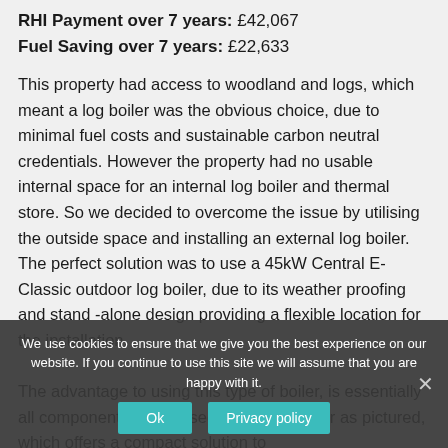RHI Payment over 7 years: £42,067
Fuel Saving over 7 years: £22,633
This property had access to woodland and logs, which meant a log boiler was the obvious choice, due to minimal fuel costs and sustainable carbon neutral credentials. However the property had no usable internal space for an internal log boiler and thermal store. So we decided to overcome the issue by utilising the outside space and installing an external log boiler. The perfect solution was to use a 45kW Central E-Classic outdoor log boiler, due to its weather proofing and stand -alone design providing a flexible location for the installation.

The advantage to using this type of boiler, is essentially all components are housed within the boiler as pictured, which offers a compact solution to
We use cookies to ensure that we give you the best experience on our website. If you continue to use this site we will assume that you are happy with it.